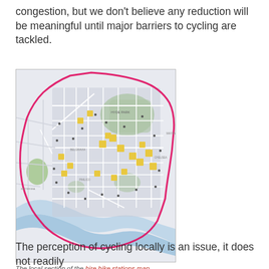congestion, but we don't believe any reduction will be meaningful until major barriers to cycling are tackled.
[Figure (map): The local section of the hire bike stations map showing central London with a pink boundary line marking a cycling zone, street network in grey, green parks, blue river Thames, and yellow markers indicating hire bike stations.]
The local section of the hire bike stations map
The perception of cycling locally is an issue, it does not readily